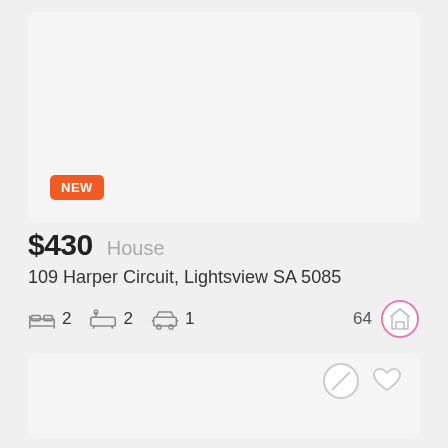[Figure (photo): Property listing image placeholder, light gray background with NEW badge]
$430  House
109 Harper Circuit, Lightsview SA 5085
2 bedrooms, 2 bathrooms, 1 car space, 64 views
[Figure (photo): Second property listing image placeholder, light gray background with action icons]